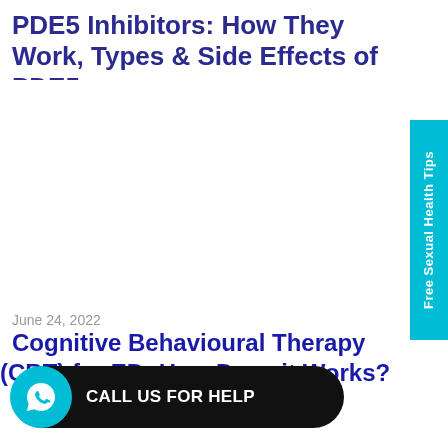PDE5 Inhibitors: How They Work, Types & Side Effects of PDE5
June 24, 2022
Cognitive Behavioural Therapy (CBT) for ED: How Does it Works?
Free Sexual Health Tips
CALL US FOR HELP